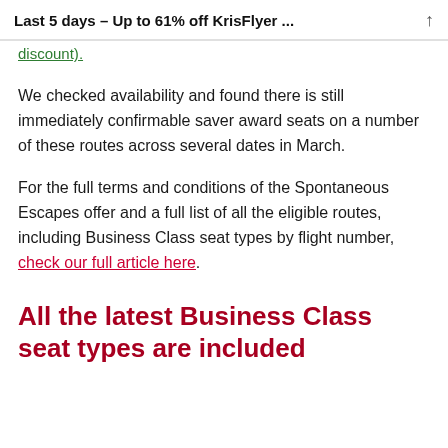Last 5 days – Up to 61% off KrisFlyer ...
discount).
We checked availability and found there is still immediately confirmable saver award seats on a number of these routes across several dates in March.
For the full terms and conditions of the Spontaneous Escapes offer and a full list of all the eligible routes, including Business Class seat types by flight number, check our full article here.
All the latest Business Class seat types are included